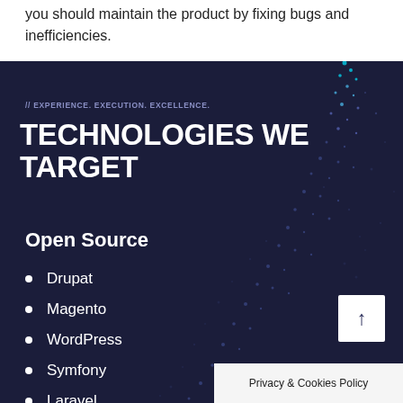you should maintain the product by fixing bugs and inefficiencies.
// EXPERIENCE. EXECUTION. EXCELLENCE.
TECHNOLOGIES WE TARGET
Open Source
Drupat
Magento
WordPress
Symfony
Laravel
Moodle
[Figure (illustration): Decorative particle/dot art background forming a curved shape on dark navy background]
Privacy & Cookies Policy